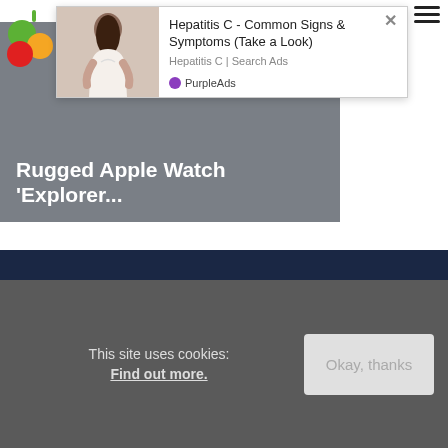[Figure (logo): Colorful fruit/circle logo]
[Figure (screenshot): Ad overlay: Hepatitis C - Common Signs & Symptoms (Take a Look) with woman holding back, Hepatitis C | Search Ads, PurpleAds branding, X close button]
[Figure (photo): Gray article image placeholder with text 'Rugged Apple Watch Explorer...']
Rugged Apple Watch ‘Explorer...
This site uses cookies:
Find out more.
Okay, thanks